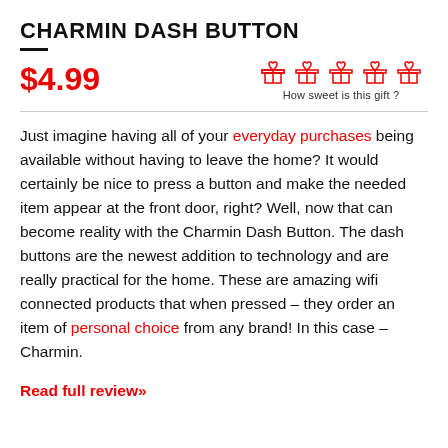CHARMIN DASH BUTTON
$4.99
[Figure (other): Five red gift box icons in a row with the label 'How sweet is this gift ?' below]
Just imagine having all of your everyday purchases being available without having to leave the home? It would certainly be nice to press a button and make the needed item appear at the front door, right? Well, now that can become reality with the Charmin Dash Button. The dash buttons are the newest addition to technology and are really practical for the home. These are amazing wifi connected products that when pressed – they order an item of personal choice from any brand! In this case – Charmin.
Read full review»